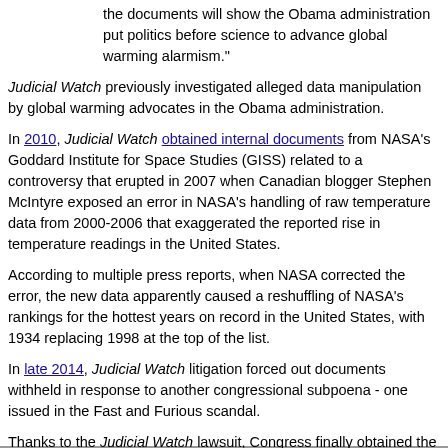the documents will show the Obama administration put politics before science to advance global warming alarmism."
Judicial Watch previously investigated alleged data manipulation by global warming advocates in the Obama administration.
In 2010, Judicial Watch obtained internal documents from NASA's Goddard Institute for Space Studies (GISS) related to a controversy that erupted in 2007 when Canadian blogger Stephen McIntyre exposed an error in NASA's handling of raw temperature data from 2000-2006 that exaggerated the reported rise in temperature readings in the United States.
According to multiple press reports, when NASA corrected the error, the new data apparently caused a reshuffling of NASA's rankings for the hottest years on record in the United States, with 1934 replacing 1998 at the top of the list.
In late 2014, Judicial Watch litigation forced out documents withheld in response to another congressional subpoena - one issued in the Fast and Furious scandal.
Thanks to the Judicial Watch lawsuit, Congress finally obtained the information it had sought for years on Obama's gun-running scandal.
Return to Climate Changes